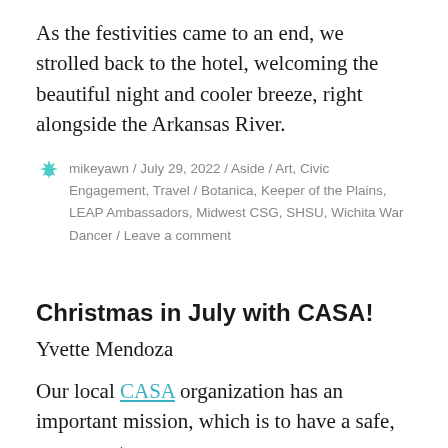As the festivities came to an end, we strolled back to the hotel, welcoming the beautiful night and cooler breeze, right alongside the Arkansas River.
mikeyawn / July 29, 2022 / Aside / Art, Civic Engagement, Travel / Botanica, Keeper of the Plains, LEAP Ambassadors, Midwest CSG, SHSU, Wichita War Dancer / Leave a comment
Christmas in July with CASA!
Yvette Mendoza
Our local CASA organization has an important mission, which is to have a safe, permanent,